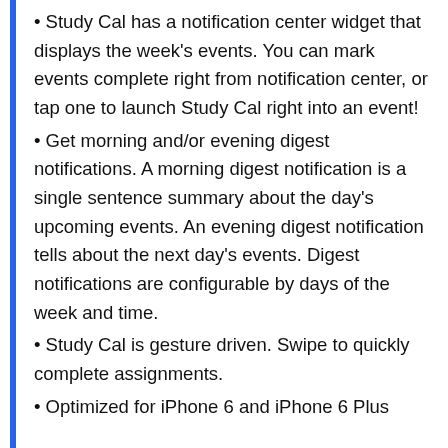• Study Cal has a notification center widget that displays the week's events. You can mark events complete right from notification center, or tap one to launch Study Cal right into an event!
• Get morning and/or evening digest notifications. A morning digest notification is a single sentence summary about the day's upcoming events. An evening digest notification tells about the next day's events. Digest notifications are configurable by days of the week and time.
• Study Cal is gesture driven. Swipe to quickly complete assignments.
• Optimized for iPhone 6 and iPhone 6 Plus